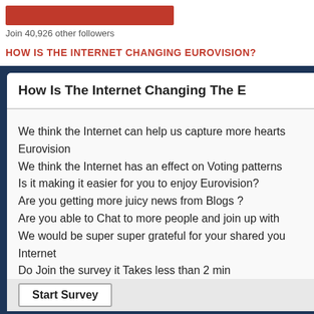[Figure (other): Red button/banner element at top]
Join 40,926 other followers
HOW IS THE INTERNET CHANGING EUROVISION?
[Figure (screenshot): Screenshot of a survey page titled 'How Is The Internet Changing The E...' with text about the Internet and Eurovision, and a Start Survey button at the bottom.]